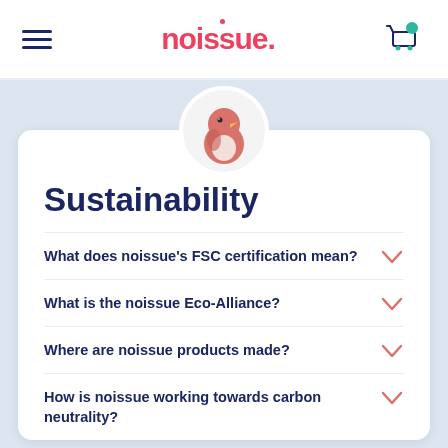noissue.
[Figure (logo): noissue. logo in pink/red text with hamburger menu and shopping cart icon]
[Figure (illustration): Circular avatar with illustrated pink parrot/bird on light grey background]
Sustainability
What does noissue's FSC certification mean?
What is the noissue Eco-Alliance?
Where are noissue products made?
How is noissue working towards carbon neutrality?